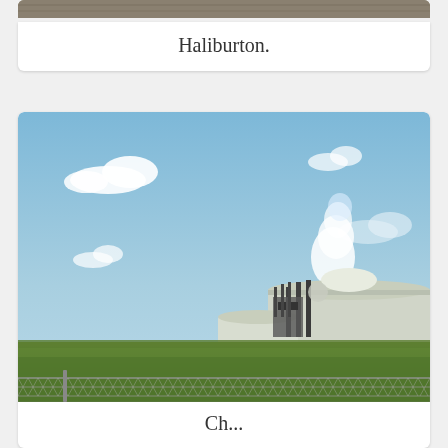[Figure (photo): Partial view of top card showing a photo (likely an industrial/field scene), cropped at top of page]
Haliburton.
[Figure (photo): Outdoor photograph of an industrial refinery or oil facility with storage tanks, smokestacks emitting white steam/smoke, under a blue sky with white clouds, with green grass and chain-link fence in the foreground]
Ch...